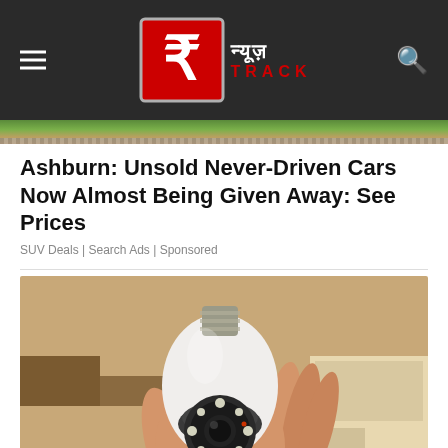न्यूज़ TRACK
[Figure (photo): Partial outdoor image visible at top of page, orange netting or fencing visible]
Ashburn: Unsold Never-Driven Cars Now Almost Being Given Away: See Prices
SUV Deals | Search Ads | Sponsored
[Figure (photo): A hand holding a white bulb-shaped security camera with a circular lens array with LED lights, resembling a light bulb screwed into a socket at the top, in a warehouse or storage setting]